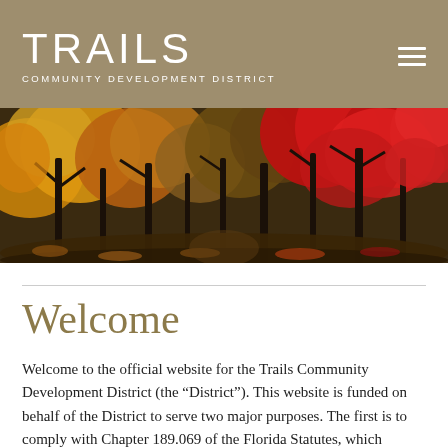TRAILS COMMUNITY DEVELOPMENT DISTRICT
[Figure (photo): Panoramic autumn forest scene with red, orange, and golden foliage trees against a trail path]
Welcome
Welcome to the official website for the Trails Community Development District (the “District”). This website is funded on behalf of the District to serve two major purposes. The first is to comply with Chapter 189.069 of the Florida Statutes, which requires each